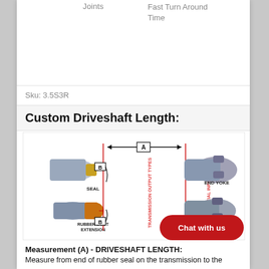Joints
Fast Turn Around Time
Sku: 3.5S3R
Custom Driveshaft Length:
[Figure (engineering-diagram): Driveshaft measurement diagram showing: a horizontal arrow labeled 'A' spanning from transmission output to differential input; two red vertical lines indicating measurement endpoints; component labels including SEAL, RUBBER BOOT EXTENSION, TRANSMISSION OUTPUT TYPES (rotated), DIFFERENTIAL INPUT TYPES (rotated), END YOKE; boxes labeled 'B' at lower measurement points; cutaway illustrations of transmission output types (seal and rubber boot extension) on the left, and differential input types (end yoke) on the right.]
Chat with us
Measurement (A) - DRIVESHAFT LENGTH:
Measure from end of rubber seal on the transmission to the